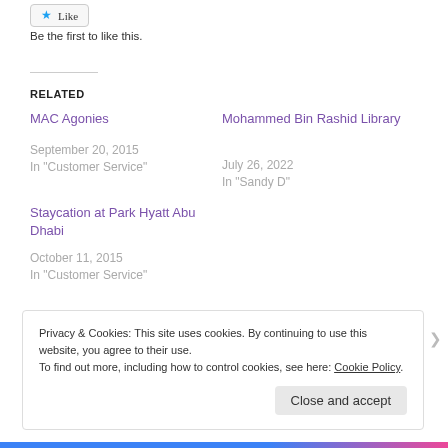[Figure (other): Like button with star icon]
Be the first to like this.
RELATED
MAC Agonies
September 20, 2015
In "Customer Service"
Mohammed Bin Rashid Library
July 26, 2022
In "Sandy D"
Staycation at Park Hyatt Abu Dhabi
October 11, 2015
In "Customer Service"
Privacy & Cookies: This site uses cookies. By continuing to use this website, you agree to their use.
To find out more, including how to control cookies, see here: Cookie Policy
Close and accept